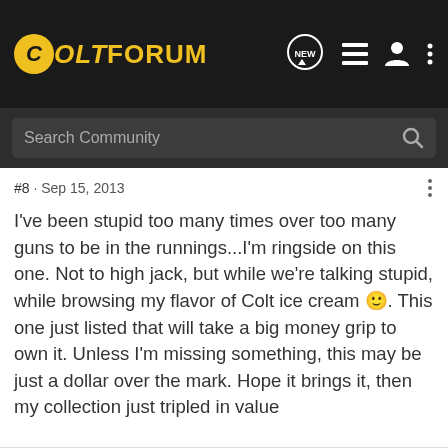ColtForum
#8 · Sep 15, 2013
I've been stupid too many times over too many guns to be in the runnings...I'm ringside on this one. Not to high jack, but while we're talking stupid, while browsing my flavor of Colt ice cream 🙂. This one just listed that will take a big money grip to own it. Unless I'm missing something, this may be just a dollar over the mark. Hope it brings it, then my collection just tripled in value
http://www.gunbroker.com/Auction/ViewItem.aspx?Item=366035783